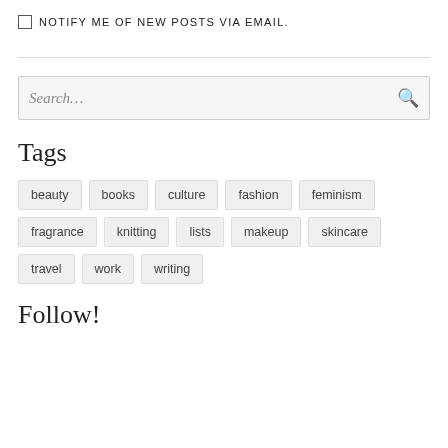NOTIFY ME OF NEW POSTS VIA EMAIL.
Search...
Tags
beauty
books
culture
fashion
feminism
fragrance
knitting
lists
makeup
skincare
travel
work
writing
Follow!